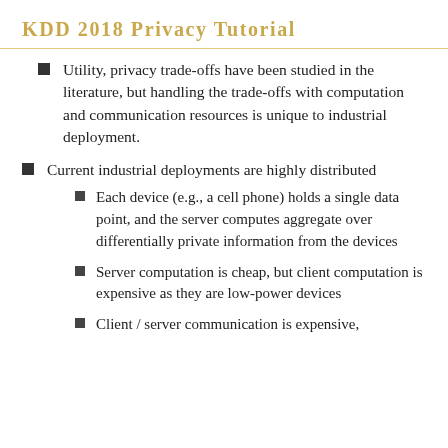KDD 2018 Privacy Tutorial
Utility, privacy trade-offs have been studied in the literature, but handling the trade-offs with computation and communication resources is unique to industrial deployment.
Current industrial deployments are highly distributed
Each device (e.g., a cell phone) holds a single data point, and the server computes aggregate over differentially private information from the devices
Server computation is cheap, but client computation is expensive as they are low-power devices
Client / server communication is expensive,